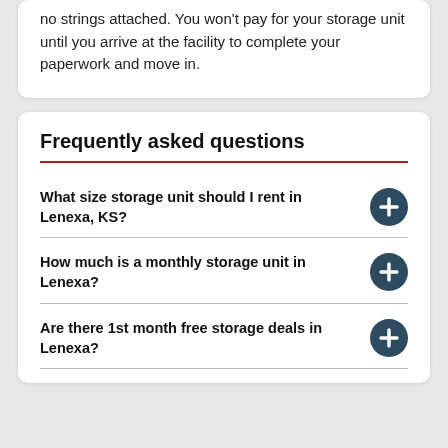no strings attached. You won't pay for your storage unit until you arrive at the facility to complete your paperwork and move in.
Frequently asked questions
What size storage unit should I rent in Lenexa, KS?
How much is a monthly storage unit in Lenexa?
Are there 1st month free storage deals in Lenexa?